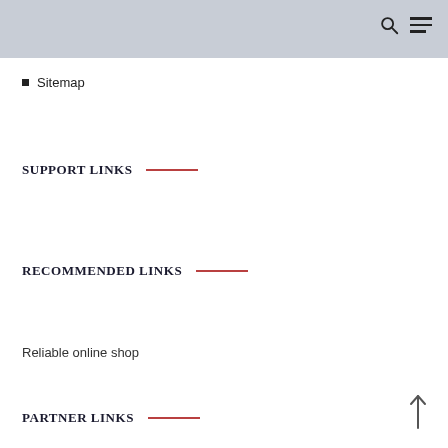Sitemap
SUPPORT LINKS
RECOMMENDED LINKS
Reliable online shop
PARTNER LINKS